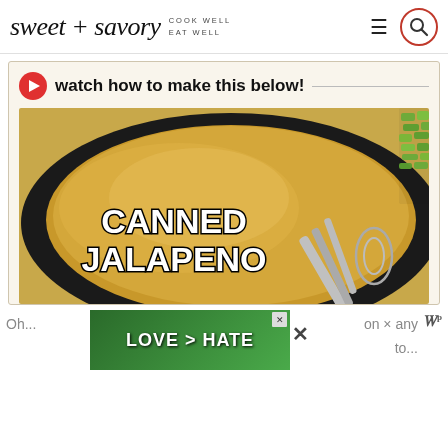[Figure (logo): sweet + savory logo with tagline COOK WELL EAT WELL and navigation icons including hamburger menu and search icon circled in red]
watch how to make this below!
[Figure (screenshot): Video thumbnail showing overhead view of a pan with golden liquid and a bowl of chopped green jalapenos being poured in with a whisk visible, overlaid with white bold text reading CANNED JALAPENO]
Oh... LOVE > HATE ...on × any to...